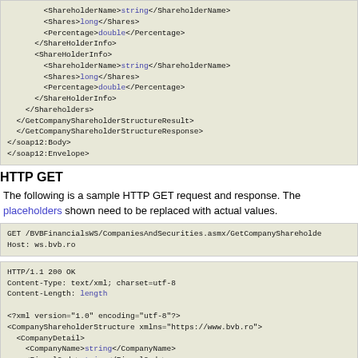[Figure (screenshot): XML code block showing ShareholderName, Shares, Percentage fields in ShareHolderInfo elements, closing Shareholders, GetCompanyShareholderStructureResult, GetCompanyShareholderStructureResponse, soap12:Body, soap12:Envelope tags]
HTTP GET
The following is a sample HTTP GET request and response. The placeholders shown need to be replaced with actual values.
[Figure (screenshot): HTTP GET request code block: GET /BVBFinancialsWS/CompaniesAndSecurities.asmx/GetCompanyShareholder... Host: ws.bvb.ro]
[Figure (screenshot): HTTP response code block: HTTP/1.1 200 OK, Content-Type: text/xml; charset=utf-8, Content-Length: length, XML with CompanyShareholderStructure, CompanyDetail, CompanyName, FiscalCode, RegistryCode, CompanyAddress, AddressDetail, Locality, District, Country, /CompanyAddress]